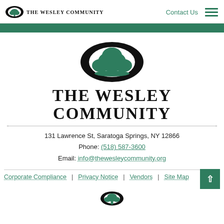The Wesley Community | Contact Us
[Figure (logo): The Wesley Community logo — black oval with green tree, text 'THE WESLEY COMMUNITY' below (large, centered)]
131 Lawrence St, Saratoga Springs, NY 12866
Phone: (518) 587-3600
Email: info@thewesleycommunity.org
Corporate Compliance | Privacy Notice | Vendors | Site Map
[Figure (logo): The Wesley Community small logo at bottom center]